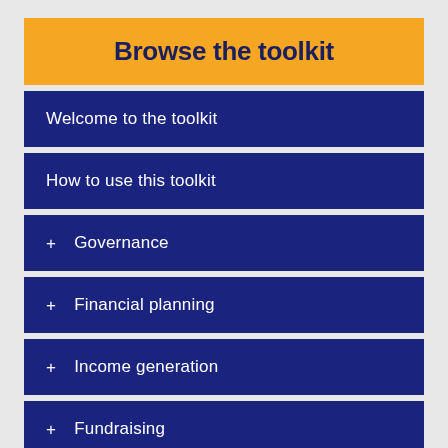Browse the toolkit
Welcome to the toolkit
How to use this toolkit
+ Governance
+ Financial planning
+ Income generation
+ Fundraising